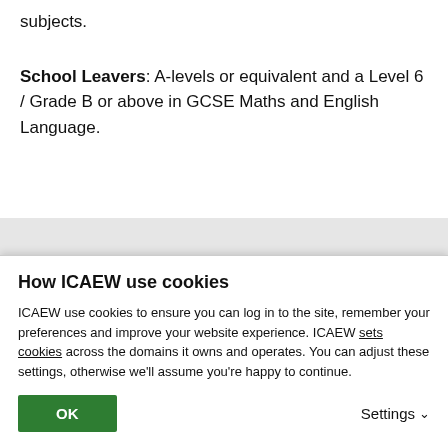subjects.
School Leavers: A-levels or equivalent and a Level 6 / Grade B or above in GCSE Maths and English Language.
What we look for in an Ecovis trainee
you an opportunity to tell us about yourself, your
Send
How ICAEW use cookies
ICAEW use cookies to ensure you can log in to the site, remember your preferences and improve your website experience. ICAEW sets cookies across the domains it owns and operates. You can adjust these settings, otherwise we'll assume you're happy to continue.